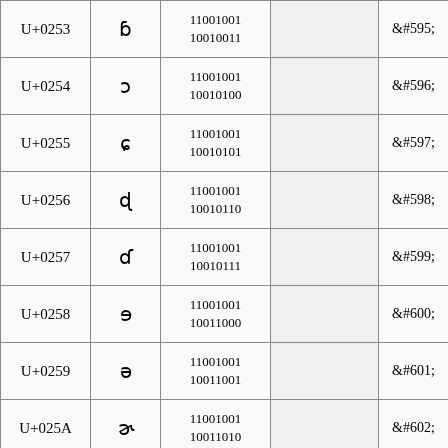| Code | Glyph | Binary |  | Entity |
| --- | --- | --- | --- | --- |
| U+0253 | ɓ | 11001001
10010011 |  | &#595; |
| U+0254 | ɔ | 11001001
10010100 |  | &#596; |
| U+0255 | ɕ | 11001001
10010101 |  | &#597; |
| U+0256 | ɖ | 11001001
10010110 |  | &#598; |
| U+0257 | ɗ | 11001001
10010111 |  | &#599; |
| U+0258 | ɘ | 11001001
10011000 |  | &#600; |
| U+0259 | ə | 11001001
10011001 |  | &#601; |
| U+025A | ɚ | 11001001
10011010 |  | &#602; |
| U+025B | ɛ | 11001001
10011011 |  | &#603; |